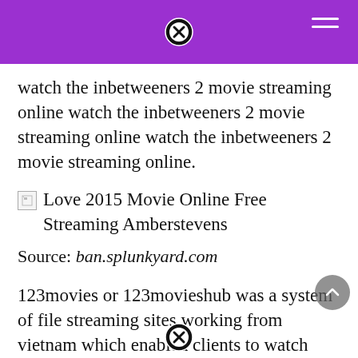watch the inbetweeners 2 movie streaming online watch the inbetweeners 2 movie streaming online watch the inbetweeners 2 movie streaming online.
[Figure (photo): Broken image placeholder for Love 2015 Movie Online Free Streaming Amberstevens]
Love 2015 Movie Online Free Streaming Amberstevens
Source: ban.splunkyard.com
123movies or 123movieshub was a system of file streaming sites working from vietnam which enabled clients to watch films for free the 123movies network is still active via clone sites 123movies is a good alternate for love (2015) online movie sites with absolutely